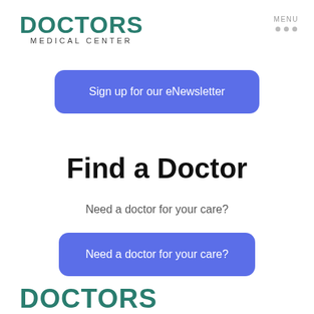DOCTORS MEDICAL CENTER
MENU
Sign up for our eNewsletter
Find a Doctor
Need a doctor for your care?
Need a doctor for your care?
DOCTORS